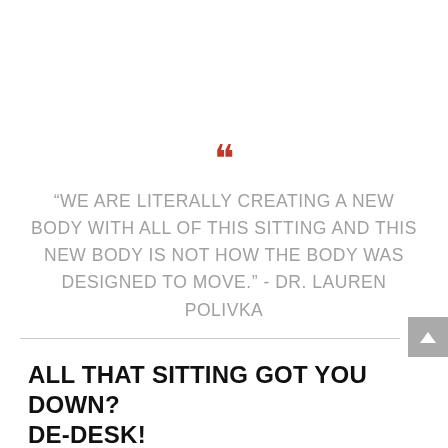“WE ARE LITERALLY CREATING A NEW BODY WITH ALL OF THIS SITTING AND THIS NEW BODY IS NOT HOW THE BODY WAS DESIGNED TO MOVE.” - DR. LAUREN POLIVKA
ALL THAT SITTING GOT YOU DOWN? DE-DESK!